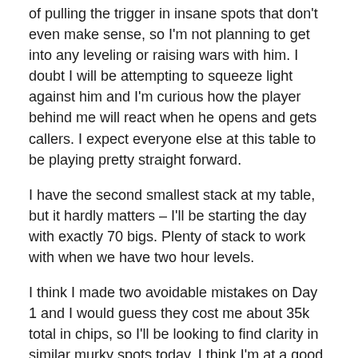of pulling the trigger in insane spots that don't even make sense, so I'm not planning to get into any leveling or raising wars with him. I doubt I will be attempting to squeeze light against him and I'm curious how the player behind me will react when he opens and gets callers. I expect everyone else at this table to be playing pretty straight forward.
I have the second smallest stack at my table, but it hardly matters – I'll be starting the day with exactly 70 bigs. Plenty of stack to work with when we have two hour levels.
I think I made two avoidable mistakes on Day 1 and I would guess they cost me about 35k total in chips, so I'll be looking to find clarity in similar murky spots today. I think I'm at a good table to chip up and put myself in position to contend for a cash on Day 3.